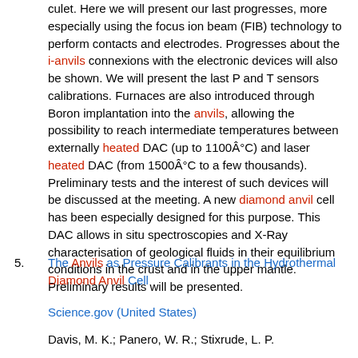culet. Here we will present our last progresses, more especially using the focus ion beam (FIB) technology to perform contacts and electrodes. Progresses about the i-anvils connexions with the electronic devices will also be shown. We will present the last P and T sensors calibrations. Furnaces are also introduced through Boron implantation into the anvils, allowing the possibility to reach intermediate temperatures between externally heated DAC (up to 1100°C) and laser heated DAC (from 1500°C to a few thousands). Preliminary tests and the interest of such devices will be discussed at the meeting. A new diamond anvil cell has been especially designed for this purpose. This DAC allows in situ spectroscopies and X-Ray characterisation of geological fluids in their equilibrium conditions in the crust and in the upper mantle. Preliminary results will be presented.
5. The Anvils as Pressure Calibrants in the Hydrothermal Diamond Anvil Cell
Science.gov (United States)
Davis, M. K.; Panero, W. R.; Stixrude, L. P.